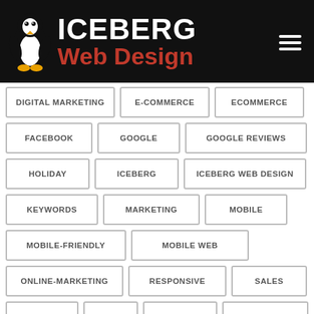[Figure (logo): Iceberg Web Design logo: white penguin on black background with ICEBERG in white bold text and Web Design in red bold text]
DIGITAL MARKETING
E-COMMERCE
ECOMMERCE
FACEBOOK
GOOGLE
GOOGLE REVIEWS
HOLIDAY
ICEBERG
ICEBERG WEB DESIGN
KEYWORDS
MARKETING
MOBILE
MOBILE-FRIENDLY
MOBILE WEB
ONLINE-MARKETING
RESPONSIVE
SALES
SECURITY
SEO
SERVICES
SOCIAL MEDIA
SOCIAL MEDIA MARKETING
TIPS
TRENDS